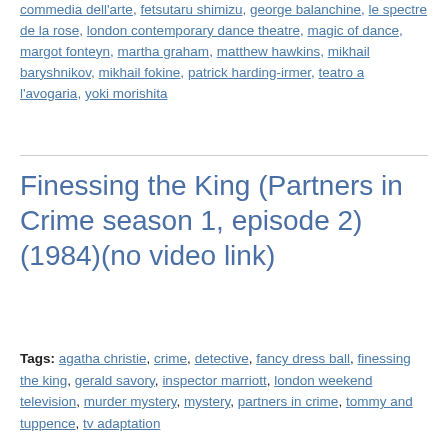commedia dell'arte, fetsutaru shimizu, george balanchine, le spectre de la rose, london contemporary dance theatre, magic of dance, margot fonteyn, martha graham, matthew hawkins, mikhail baryshnikov, mikhail fokine, patrick harding-irmer, teatro a l'avogaria, yoki morishita
Finessing the King (Partners in Crime season 1, episode 2) (1984)(no video link)
Tags: agatha christie, crime, detective, fancy dress ball, finessing the king, gerald savory, inspector marriott, london weekend television, murder mystery, mystery, partners in crime, tommy and tuppence, tv adaptation